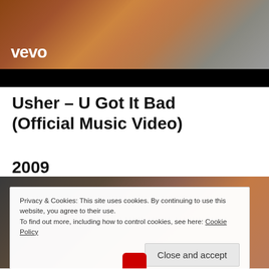[Figure (screenshot): Vevo video thumbnail showing a close-up of a person's face with warm brown tones and a black letterbox bar at the bottom. The Vevo logo appears in white text at the bottom left of the image area.]
Usher – U Got It Bad (Official Music Video)
2009
[Figure (screenshot): Second video thumbnail with dark tones, overlaid by a cookie consent banner. The banner reads: 'Privacy & Cookies: This site uses cookies. By continuing to use this website, you agree to their use. To find out more, including how to control cookies, see here: Cookie Policy' with a 'Close and accept' button.]